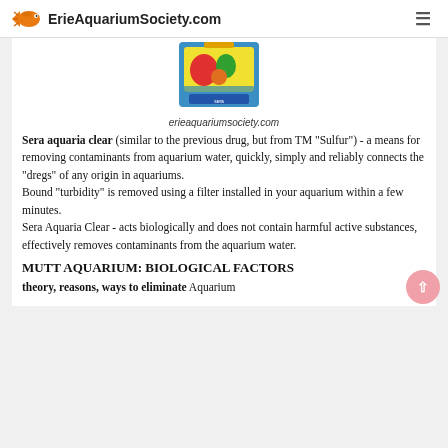ErieAquariumSociety.com
[Figure (photo): Product image of Sera aquaria clear package with colorful label showing fish and plants]
erieaquariumsociety.com
Sera aquaria clear (similar to the previous drug, but from TM "Sulfur") - a means for removing contaminants from aquarium water, quickly, simply and reliably connects the "dregs" of any origin in aquariums. Bound "turbidity" is removed using a filter installed in your aquarium within a few minutes. Sera Aquaria Clear - acts biologically and does not contain harmful active substances, effectively removes contaminants from the aquarium water.
MUTT AQUARIUM: BIOLOGICAL FACTORS
theory, reasons, ways to eliminate Aquarium